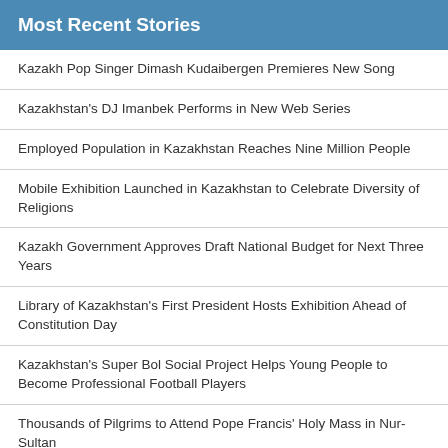Most Recent Stories
Kazakh Pop Singer Dimash Kudaibergen Premieres New Song
Kazakhstan's DJ Imanbek Performs in New Web Series
Employed Population in Kazakhstan Reaches Nine Million People
Mobile Exhibition Launched in Kazakhstan to Celebrate Diversity of Religions
Kazakh Government Approves Draft National Budget for Next Three Years
Library of Kazakhstan's First President Hosts Exhibition Ahead of Constitution Day
Kazakhstan's Super Bol Social Project Helps Young People to Become Professional Football Players
Thousands of Pilgrims to Attend Pope Francis' Holy Mass in Nur-Sultan
Cholpon-Ata Meeting of Eurasian Intergovernmental Council Fortifies EAEU Industrial Cooperation